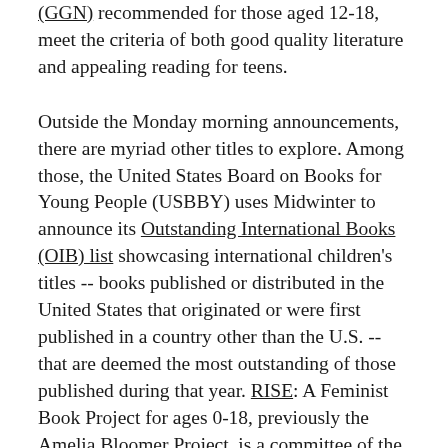(GGN) recommended for those aged 12-18, meet the criteria of both good quality literature and appealing reading for teens.
Outside the Monday morning announcements, there are myriad other titles to explore. Among those, the United States Board on Books for Young People (USBBY) uses Midwinter to announce its Outstanding International Books (OIB) list showcasing international children's titles -- books published or distributed in the United States that originated or were first published in a country other than the U.S. -- that are deemed the most outstanding of those published during that year. RISE: A Feminist Book Project for ages 0-18, previously the Amelia Bloomer Project, is a committee of the Feminist Task Force of the Social Responsibilities Round Table (SRRT), that produces an annual annotated book list of well-written and well-illustrated books with significant feminist content for young readers.